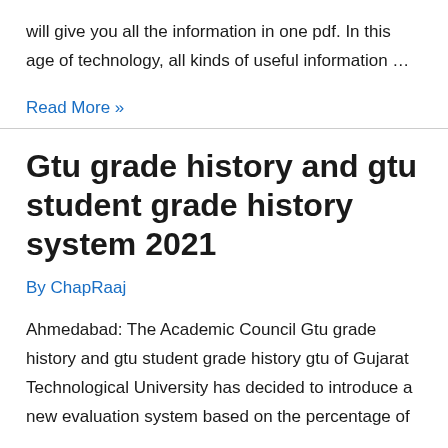will give you all the information in one pdf. In this age of technology, all kinds of useful information …
Read More »
Gtu grade history and gtu student grade history system 2021
By ChapRaaj
Ahmedabad: The Academic Council Gtu grade history and gtu student grade history gtu of Gujarat Technological University has decided to introduce a new evaluation system based on the percentage of